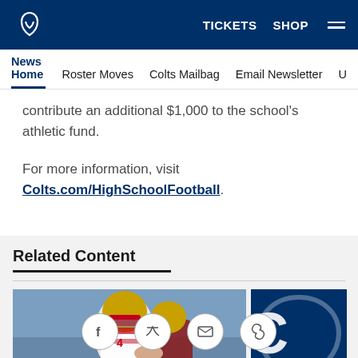Indianapolis Colts - TICKETS SHOP
News Home | Roster Moves | Colts Mailbag | Email Newsletter | U
contribute an additional $1,000 to the school's athletic fund.
For more information, visit Colts.com/HighSchoolFootball.
Related Content
[Figure (photo): Two high school football players in red and white uniforms with gold helmets during a game]
[Figure (logo): Indianapolis Colts logo partial on dark blue background]